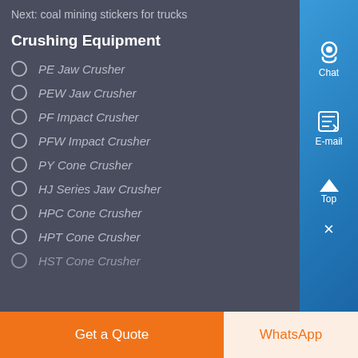Next: coal mining stickers for trucks
Crushing Equipment
PE Jaw Crusher
PEW Jaw Crusher
PF Impact Crusher
PFW Impact Crusher
PY Cone Crusher
HJ Series Jaw Crusher
HPC Cone Crusher
HPT Cone Crusher
HST Cone Crusher